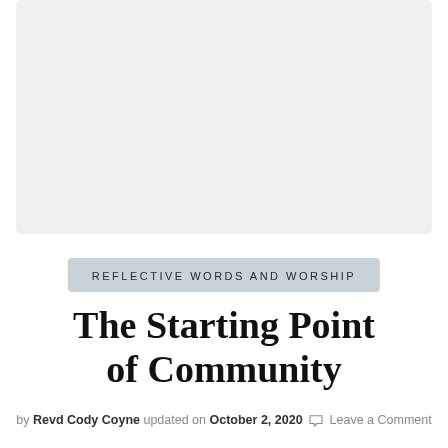[Figure (other): Gray placeholder image area with rounded corners at the top of the page]
REFLECTIVE WORDS AND WORSHIP
The Starting Point of Community
by Revd Cody Coyne updated on October 2, 2020 Leave a Comment